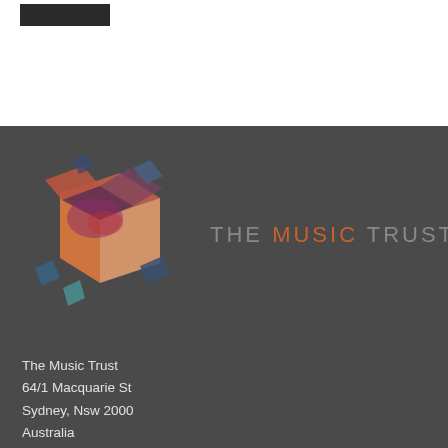[Figure (logo): Dark rectangular bar in top-left of white section]
[Figure (logo): The Music Trust logo — colourful geometric box shape with orange, red, purple and blue elements — alongside text THE MUSIC TRUST on dark grey background]
The Music Trust
64/1 Macquarie St
Sydney, Nsw 2000
Australia